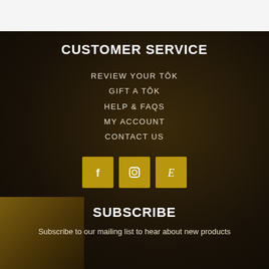CUSTOMER SERVICE
REVIEW YOUR TŌK
GIFT A TŌK
HELP & FAQS
MY ACCOUNT
CONTACT US
[Figure (infographic): Three golden square social media icon buttons: Facebook (f), Instagram (camera), Etsy (E)]
SUBSCRIBE
Subscribe to our mailing list to hear about new products